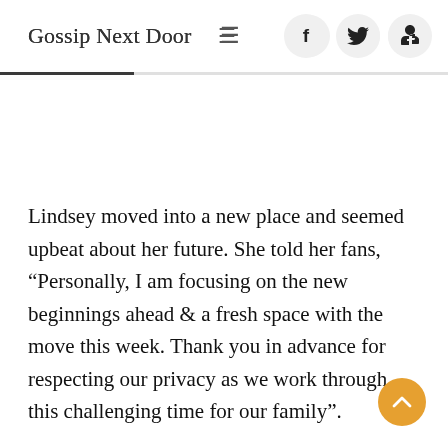Gossip Next Door
Lindsey moved into a new place and seemed upbeat about her future. She told her fans, “Personally, I am focusing on the new beginnings ahead & a fresh space with the move this week. Thank you in advance for respecting our privacy as we work through this challenging time for our family”.